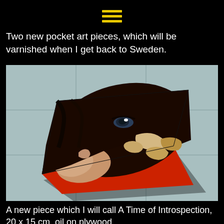[Figure (other): Yellow hamburger menu icon (three horizontal lines) on black background]
Two new pocket art pieces, which will be varnished when I get back to Sweden.
[Figure (photo): A small square painting on plywood with a red-painted edge, showing a dark portrait with an eye and abstract face features, tilted on a light blue/grey tiled surface.]
A new piece which I will call A Time of Introspection, 20 x 15 cm, oil on plywood.